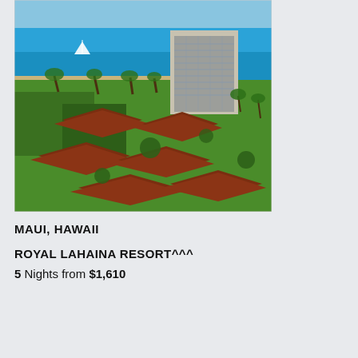[Figure (photo): Aerial view of Royal Lahaina Resort in Maui, Hawaii, showing a tall hotel tower, bungalow-style cottages with red/brown roofs surrounded by lush green lawns and tropical trees, with a sandy beach and blue ocean in the background.]
MAUI, HAWAII
ROYAL LAHAINA RESORT^^^
5 Nights from $1,610